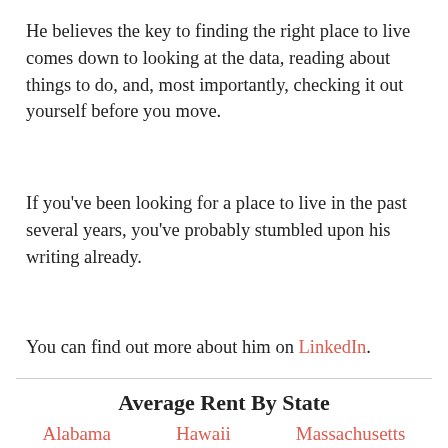He believes the key to finding the right place to live comes down to looking at the data, reading about things to do, and, most importantly, checking it out yourself before you move.
If you've been looking for a place to live in the past several years, you've probably stumbled upon his writing already.
You can find out more about him on LinkedIn.
Average Rent By State
Alabama   Hawaii   Massachusetts